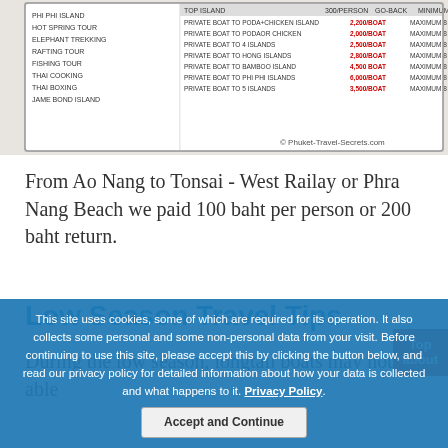[Figure (photo): Partial screenshot of a boat tour price list from Phuket showing destinations and prices in Thai baht, with copyright watermark Phuket-Travel-Secrets.com]
From Ao Nang to Tonsai - West Railay or Phra Nang Beach we paid 100 baht per person or 200 baht return.
Low Season Travel Tips
During the low season, longtail boats may not be able
This site uses cookies, some of which are required for its operation. It also collects some personal and some non-personal data from your visit. Before continuing to use this site, please accept this by clicking the button below, and read our privacy policy for detailed information about how your data is collected and what happens to it. Privacy Policy. Accept and Continue